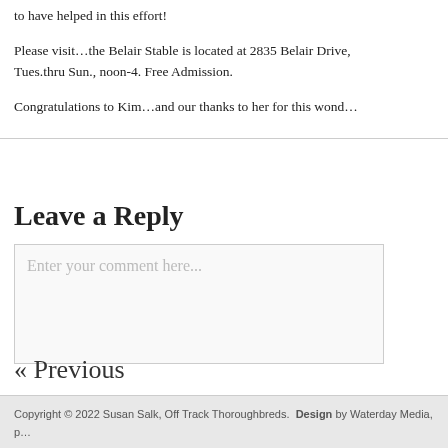to have helped in this effort!
Please visit…the Belair Stable is located at 2835 Belair Drive, Tues.thru Sun., noon-4. Free Admission.
Congratulations to Kim…and our thanks to her for this wond…
Leave a Reply
Enter your comment here...
« Previous
Copyright © 2022 Susan Salk, Off Track Thoroughbreds.  Design by Waterday Media, p…